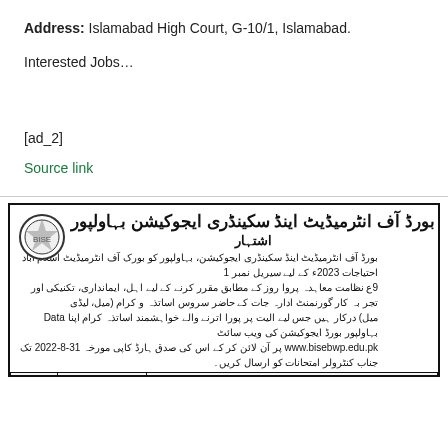Address: Islamabad High Court, G-10/1, Islamabad.
Interested Jobs…
[ad_2]
Source link
[Figure (other): Board of Intermediate and Secondary Education Bahawalpur job advertisement in Urdu with a table showing serial number, deputy, and eligibility columns. Includes organization logo on left.]